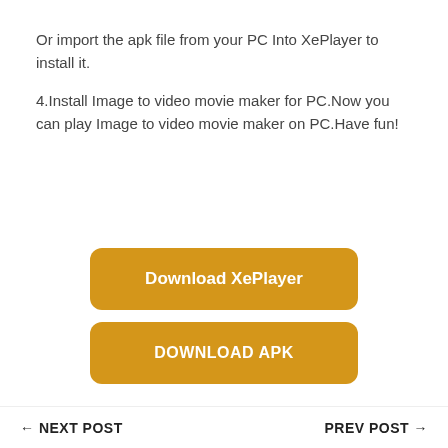Or import the apk file from your PC Into XePlayer to install it.
4.Install Image to video movie maker for PC.Now you can play Image to video movie maker on PC.Have fun!
[Figure (other): Download XePlayer button - golden/amber rounded rectangle button with white bold text]
[Figure (other): DOWNLOAD APK button - golden/amber rounded rectangle button with white bold uppercase text]
← NEXT POST    PREV POST →